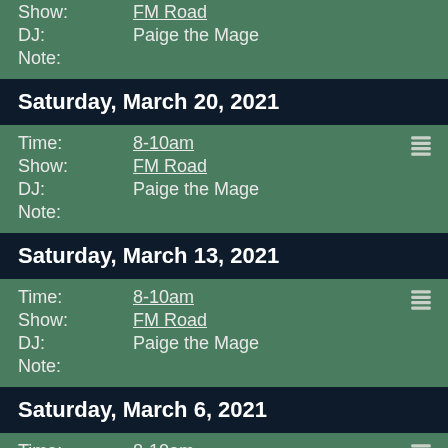Show: FM Road
DJ: Paige the Mage
Note:
Saturday, March 20, 2021
Time: 8-10am
Show: FM Road
DJ: Paige the Mage
Note:
Saturday, March 13, 2021
Time: 8-10am
Show: FM Road
DJ: Paige the Mage
Note:
Saturday, March 6, 2021
Time: 8-10am